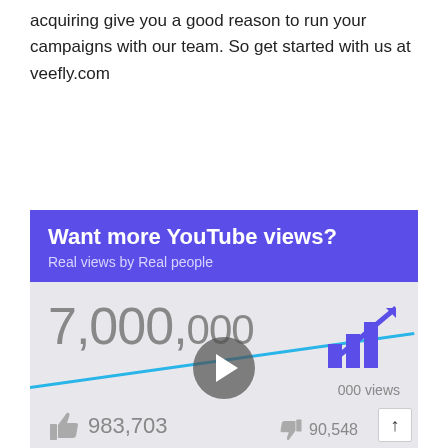acquiring give you a good reason to run your campaigns with our team. So get started with us at veefly.com
[Figure (infographic): Veefly advertisement banner: 'Want more YouTube views? Real views by Real people' with a video thumbnail showing 7,000,000 views, 983,703 likes, 90,548 dislikes, a bar/growth chart icon, a blue diagonal line, and a play button. Footer shows Veefly logo and TRY NOW button.]